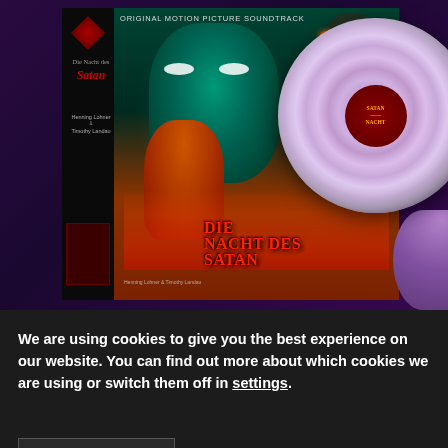[Figure (photo): Album cover and vinyl record for 'Die Nacht des Satan' (original motion picture soundtrack). Shows horror movie artwork with a teal-skinned woman, skull demon, robed figure with fire, and a purple marbled vinyl record. Red and black spine panel on left with title text.]
We are using cookies to give you the best experience on our website. You can find out more about which cookies we are using or switch them off in settings.
Accept
Navigation bar with: hamburger menu, user/person icon, search icon, shopping cart with badge showing 0